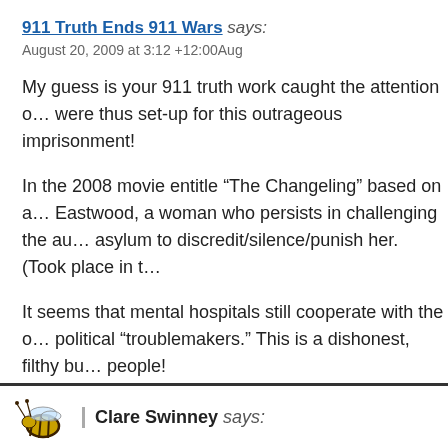911 Truth Ends 911 Wars says:
August 20, 2009 at 3:12 +12:00Aug
My guess is your 911 truth work caught the attention o… were thus set-up for this outrageous imprisonment!
In the 2008 movie entitle “The Changeling” based on a… Eastwood, a woman who persists in challenging the au… asylum to discredit/silence/punish her. (Took place in t…
It seems that mental hospitals still cooperate with the o… political “troublemakers.” This is a dishonest, filthy bu… people!
Good luck, & please continue to speak out about this!
Reply
Clare Swinney says: